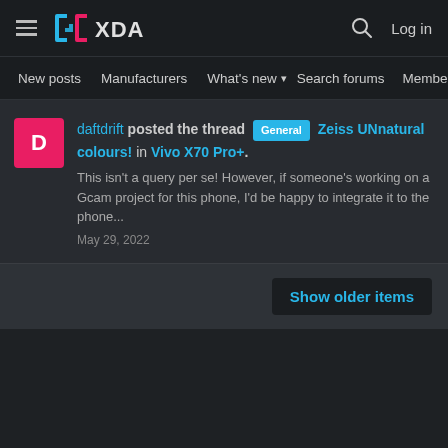XDA Forums — hamburger menu, XDA logo, search icon, Log in
New posts  Manufacturers  What's new ▾  Search forums  Membe  >
daftdrift posted the thread [General] Zeiss UNnatural colours! in Vivo X70 Pro+.
This isn't a query per se! However, if someone's working on a Gcam project for this phone, I'd be happy to integrate it to the phone...
May 29, 2022
Show older items